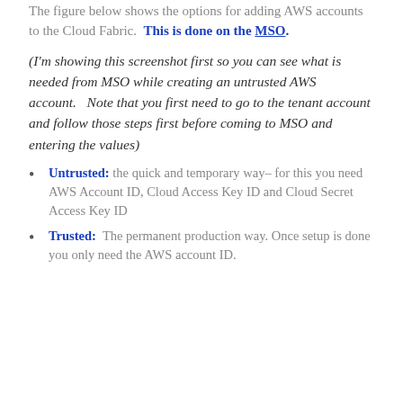The figure below shows the options for adding AWS accounts to the Cloud Fabric. This is done on the MSO.
(I'm showing this screenshot first so you can see what is needed from MSO while creating an untrusted AWS account.   Note that you first need to go to the tenant account and follow those steps first before coming to MSO and entering the values)
Untrusted: the quick and temporary way– for this you need AWS Account ID, Cloud Access Key ID and Cloud Secret Access Key ID
Trusted: The permanent production way. Once setup is done you only need the AWS account ID.